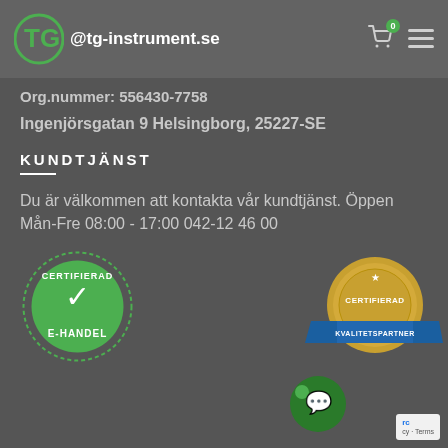@tg-instrument.se
Org.nummer: 556430-7758
Ingenjörsgatan 9 Helsingborg, 25227-SE
KUNDTJÄNST
Du är välkommen att kontakta vår kundtjänst. Öppen Mån-Fre 08:00 - 17:00 042-12 46 00
[Figure (logo): Certifierad E-handel green circular stamp badge]
[Figure (logo): Certifierad Kvalitetspartner gold medal badge with blue ribbon]